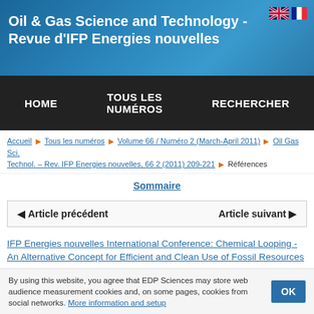Oil & Gas Science and Technology - Revue d'IFP Energies nouvelles
HOME | TOUS LES NUMÉROS | RECHERCHER
Accueil ▶ Tous les numéros ▶ Volume 66 / Numéro 2 (March-April 2011) ▶ Oil Gas Sci. Technol. – Rev. IFP Energies nouvelles, 66 2 (2011) 209-221 ▶ Références
Sommaire
◀ Article précédent    Article suivant ▶
IFP Energies nouvelles International Conference: Chemical Looping - An Alternative Concept for Efficient and Clean Use of Fossil Resources
Open Access
Lyngfelt A., Oxygen Carriers for chemical-looping combustion –
By using this website, you agree that EDP Sciences may store web audience measurement cookies and, on some pages, cookies from social networks. More information and setup